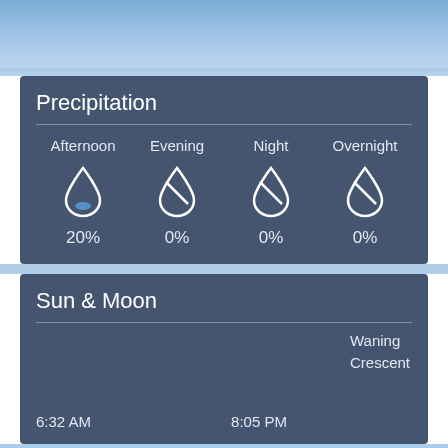[Figure (other): Sky/blue gradient background strip at top]
Precipitation
| Afternoon | Evening | Night | Overnight |
| --- | --- | --- | --- |
| 20% | 0% | 0% | 0% |
Sun & Moon
Waning Crescent
6:32 AM    8:05 PM
Wind & Pressure